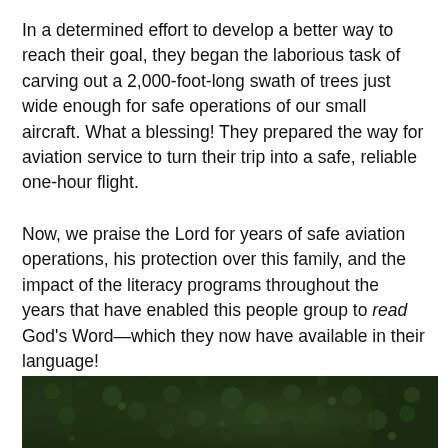In a determined effort to develop a better way to reach their goal, they began the laborious task of carving out a 2,000-foot-long swath of trees just wide enough for safe operations of our small aircraft. What a blessing! They prepared the way for aviation service to turn their trip into a safe, reliable one-hour flight.
Now, we praise the Lord for years of safe aviation operations, his protection over this family, and the impact of the literacy programs throughout the years that have enabled this people group to read God's Word—which they now have available in their language!
[Figure (photo): Aerial photo of dense dark green forest canopy viewed from above]